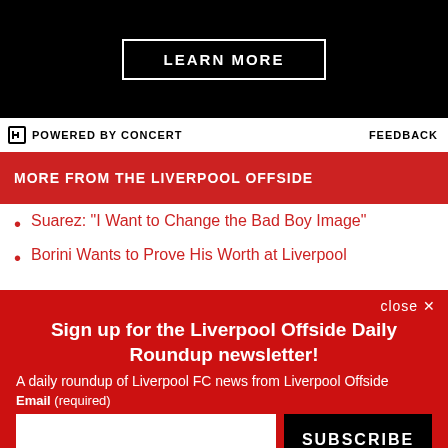[Figure (screenshot): Black ad banner with LEARN MORE button in white border]
⊟ POWERED BY CONCERT    FEEDBACK
MORE FROM THE LIVERPOOL OFFSIDE
Suarez: "I Want to Change the Bad Boy Image"
Borini Wants to Prove His Worth at Liverpool
close ✕
Sign up for the Liverpool Offside Daily Roundup newsletter!
A daily roundup of Liverpool FC news from Liverpool Offside
Email (required)
SUBSCRIBE
By submitting your email, you agree to our Terms and Privacy Notice. You can opt out at any time. This site is protected by reCAPTCHA and the Google Privacy Policy and Terms of Service apply.